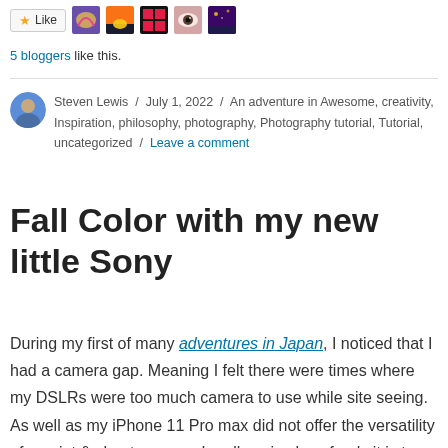[Figure (other): Like button and blogger avatar thumbnails row]
5 bloggers like this.
Steven Lewis / July 1, 2022 / An adventure in Awesome, creativity, Inspiration, philosophy, photography, Photography tutorial, Tutorial, uncategorized / Leave a comment
Fall Color with my new little Sony
During my first of many adventures in Japan, I noticed that I had a camera gap. Meaning I felt there were times where my DSLRs were too much camera to use while site seeing. As well as my iPhone 11 Pro max did not offer the versatility of a point & shoot camera. I really enjoy how freely it is to capture